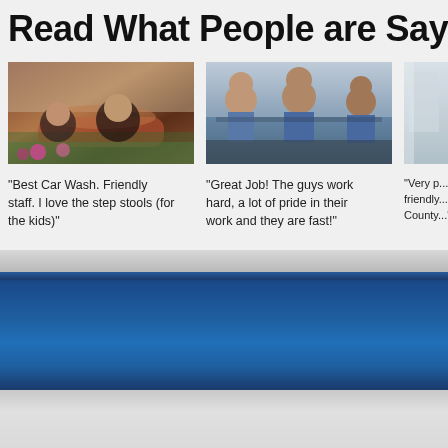Read What People are Saying
[Figure (photo): Two people posing near a decorative tiled fountain or planter with flowers]
[Figure (photo): Three men in blue uniforms smiling together]
[Figure (photo): Partially visible photo, appears to show a building or car wash exterior]
"Best Car Wash. Friendly staff. I love the step stools (for the kids)"
"Great Job! The guys work hard, a lot of pride in their work and they are fast!"
"Very p... friendly... County..."